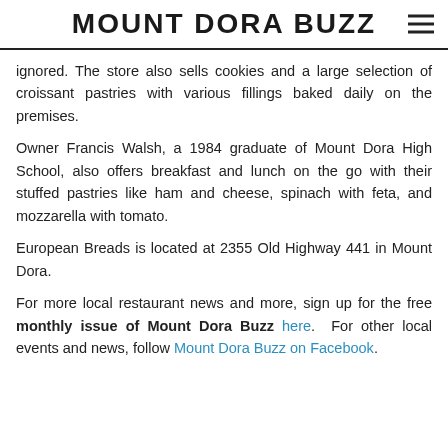MOUNT DORA BUZZ
ignored. The store also sells cookies and a large selection of croissant pastries with various fillings baked daily on the premises.
Owner Francis Walsh, a 1984 graduate of Mount Dora High School, also offers breakfast and lunch on the go with their stuffed pastries like ham and cheese, spinach with feta, and mozzarella with tomato.
European Breads is located at 2355 Old Highway 441 in Mount Dora.
For more local restaurant news and more, sign up for the free monthly issue of Mount Dora Buzz here. For other local events and news, follow Mount Dora Buzz on Facebook.